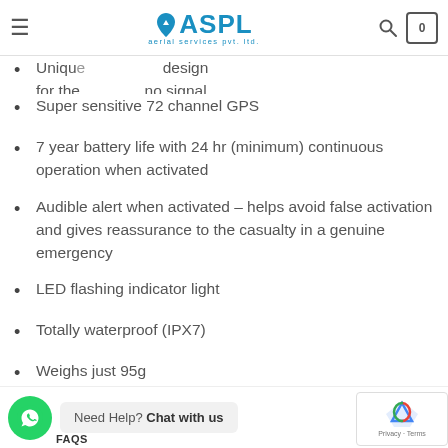[Figure (logo): ASPL Aerial Services Pvt. Ltd. logo with navigation bar including hamburger menu, search icon, and cart icon showing 0]
Unique ... design for the ... no signal (partially visible, cut off at top)
Super sensitive 72 channel GPS
7 year battery life with 24 hr (minimum) continuous operation when activated
Audible alert when activated – helps avoid false activation and gives reassurance to the casualty in a genuine emergency
LED flashing indicator light
Totally waterproof (IPX7)
Weighs just 95g
Need Help? Chat with us
FAQS